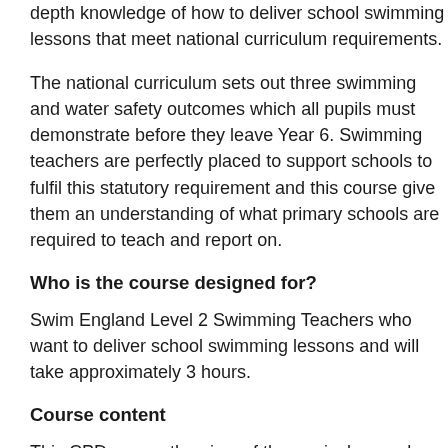depth knowledge of how to deliver school swimming lessons that meet national curriculum requirements.
The national curriculum sets out three swimming and water safety outcomes which all pupils must demonstrate before they leave Year 6. Swimming teachers are perfectly placed to support schools to fulfil this statutory requirement and this course give them an understanding of what primary schools are required to teach and report on.
Who is the course designed for?
Swim England Level 2 Swimming Teachers who want to deliver school swimming lessons and will take approximately 3 hours.
Course content
This CPD covers the aims of the curriculum and sets out some important considerations for how swimming teachers can support schools. To make the most of swimming lessons, it reveals teaching methods relevant to the wider curriculum and school environment. It also covers the Swimming and Water